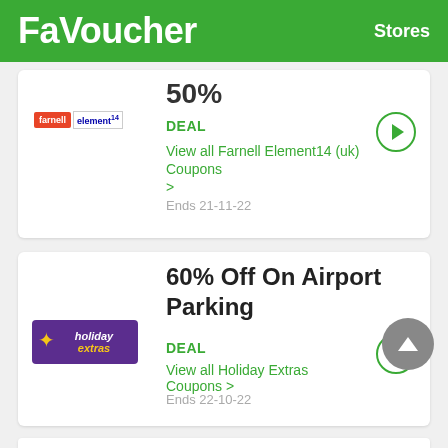FaVoucher   Stores
50%
DEAL
View all Farnell Element14 (uk) Coupons >
Ends 21-11-22
60% Off On Airport Parking
DEAL
View all Holiday Extras Coupons >
Ends 22-10-22